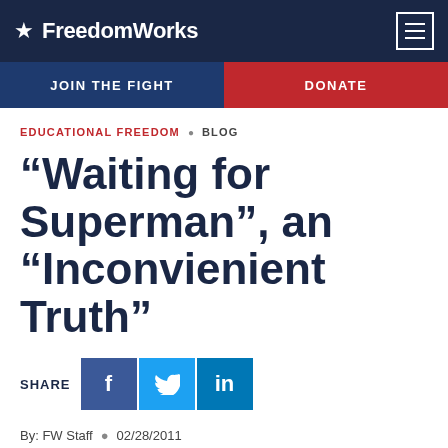FreedomWorks
JOIN THE FIGHT   DONATE
EDUCATIONAL FREEDOM · BLOG
“Waiting for Superman”, an “Inconvienient Truth”
SHARE
By: FW Staff · 02/28/2011